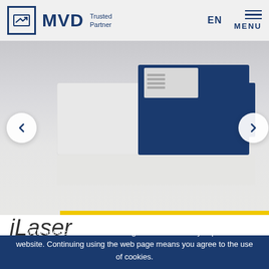[Figure (logo): MVD Trusted Partner logo with blue square icon containing two arrows, bold blue MVD text, and tagline 'Trusted Partner']
[Figure (photo): Industrial laser cutting machine (iLaser) in white and blue, photographed against a light grey/white background with a yellow accent bar at the bottom]
iLaser
MVD uses cookies to best design and continuously improve the website. Continuing using the web page means you agree to the use of cookies.
ACCEPT ALL